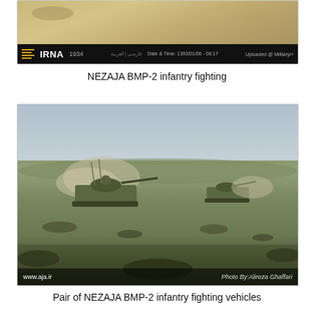[Figure (photo): IRNA news agency photograph of a NEZAJA BMP-2 infantry fighting vehicle, shown from aerial/overhead angle in desert terrain. IRNA logo and 1934 text visible with date/time metadata bar at bottom.]
NEZAJA BMP-2 infantry fighting
[Figure (photo): Photograph of a pair of NEZAJA BMP-2 infantry fighting vehicles moving across rocky desert terrain, kicking up dust. Website www.aja.ir and Photo By:Alireza Ghaffari credit shown.]
Pair of NEZAJA BMP-2 infantry fighting vehicles